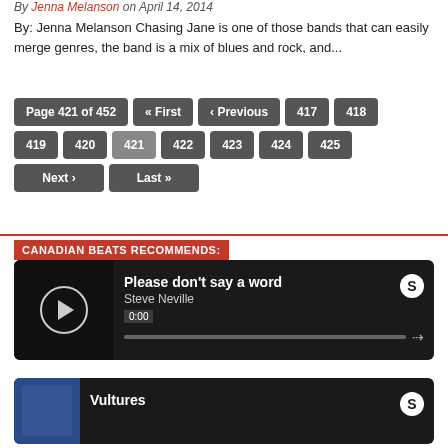By Jenna Melanson on April 14, 2014
By: Jenna Melanson Chasing Jane is one of those bands that can easily merge genres, the band is a mix of blues and rock, and...
Pagination: Page 421 of 452, « First, ‹ Previous, 417, 418, 419, 420, 421 (current), 422, 423, 424, 425, Next ›, Last »
CANADIAN BEATS RECOMMENDS:
[Figure (other): Spotify music player widget showing 'Please don't say a word' by Steve Neville with play button, progress bar, and Spotify logo]
[Figure (other): Spotify music player widget showing 'Vultures' with album art thumbnail and Spotify logo]